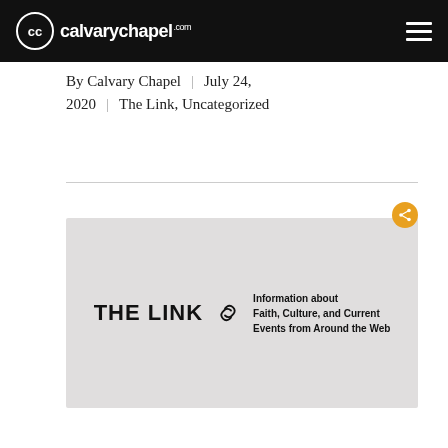calvarychapel.com
By Calvary Chapel | July 24, 2020 | The Link, Uncategorized
[Figure (illustration): The Link banner image on a light gray background. Shows 'THE LINK' in large bold black uppercase letters with a chain link icon, followed by text: 'Information about Faith, Culture, and Current Events from Around the Web']